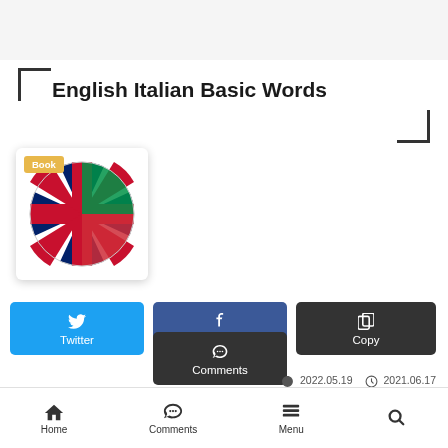English Italian Basic Words
[Figure (illustration): Book cover showing overlapping UK and Italian flags in a circle, with a yellow 'Book' label badge in the top-left corner]
Twitter
Facebook
Copy
Comments
2022.05.19  2021.06.17
Home  Comments  Menu